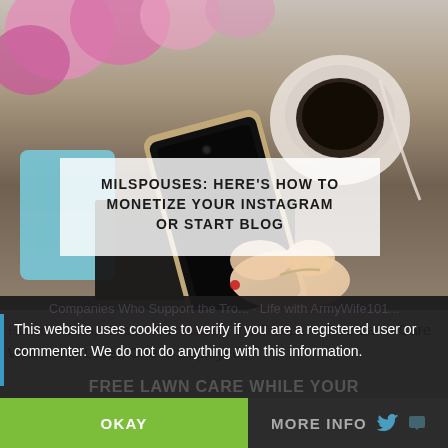[Figure (photo): Hero image showing a hand holding a smartphone over a desk with coffee, flowers (pink blooms) in background, overlaid with a semi-transparent white box containing the article title.]
MILSPOUSES: HERE'S HOW TO MONETIZE YOUR INSTAGRAM OR START BLOG
Home » Companies Who Support the Troops » Free Lawn Care While Your Loved One Is Deployed
This website uses cookies to verify if you are a registered user or commenter. We do not do anything with this information.
FREE LAWN CARE WHILE YOUR
OKAY
MORE INFO